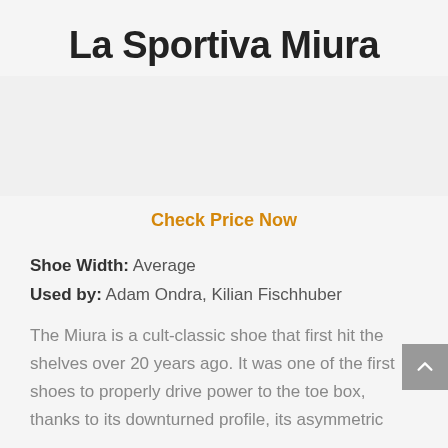La Sportiva Miura
Check Price Now
Shoe Width: Average
Used by: Adam Ondra, Kilian Fischhuber
The Miura is a cult-classic shoe that first hit the shelves over 20 years ago. It was one of the first shoes to properly drive power to the toe box, thanks to its downturned profile, its asymmetric